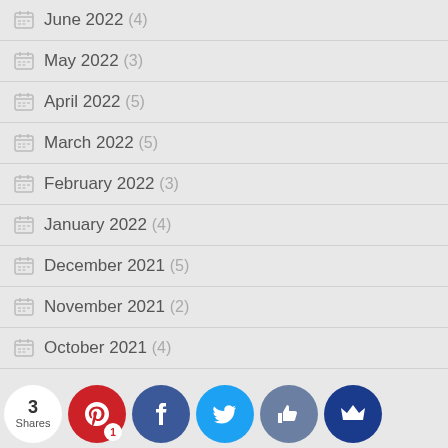June 2022 (4)
May 2022 (3)
April 2022 (5)
March 2022 (5)
February 2022 (3)
January 2022 (4)
December 2021 (5)
November 2021 (2)
October 2021 (4)
September 2021 (5) [partial]
[Figure (infographic): Social sharing bar with share count (3 Shares), Pinterest (1), Facebook, Twitter, thumbs up, and crown buttons]